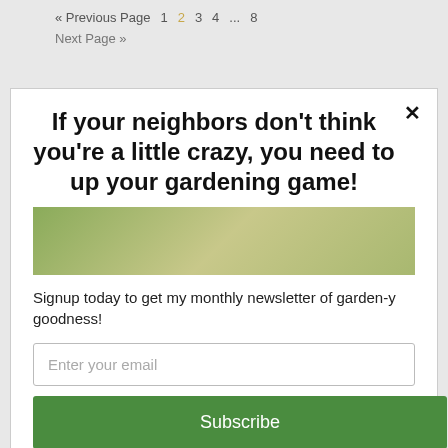« Previous Page  1  2  3  4  ...  8
Next Page »
If your neighbors don't think you're a little crazy, you need to up your gardening game!
Signup today to get my monthly newsletter of garden-y goodness!
Enter your email
Subscribe